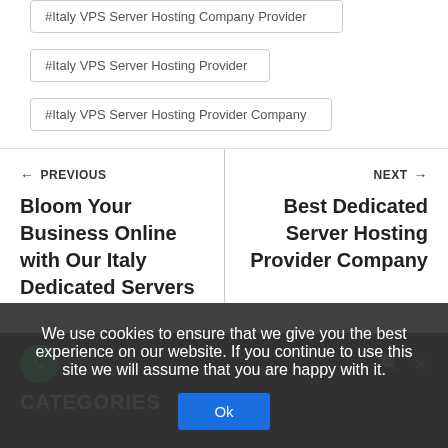#Italy VPS Server Hosting Company Provider
#Italy VPS Server Hosting Provider
#Italy VPS Server Hosting Provider Company
← PREVIOUS
Bloom Your Business Online with Our Italy Dedicated Servers
NEXT →
Best Dedicated Server Hosting Provider Company
We use cookies to ensure that we give you the best experience on our website. If you continue to use this site we will assume that you are happy with it.
Ok
CATEGORIES